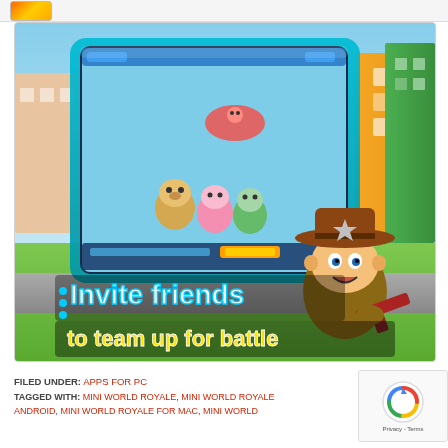[Figure (screenshot): Mini World Royale game promotional screenshot showing cartoon characters in a battle royale setting with text 'Invite friends to team up for battle' overlaid. A cowboy chibi character holds a gun on the right side, with colorful cartoon scene on game tablet display.]
FILED UNDER: APPS FOR PC
TAGGED WITH: MINI WORLD ROYALE, MINI WORLD ROYALE ANDROID, MINI WORLD ROYALE FOR MAC, MINI WORLD...